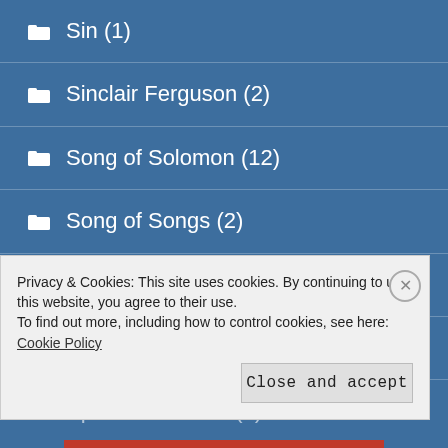Sin (1)
Sinclair Ferguson (2)
Song of Solomon (12)
Song of Songs (2)
Special Days (7)
spiritual journey (11)
Spiritual Warfare (1)
Privacy & Cookies: This site uses cookies. By continuing to use this website, you agree to their use.
To find out more, including how to control cookies, see here: Cookie Policy
Close and accept